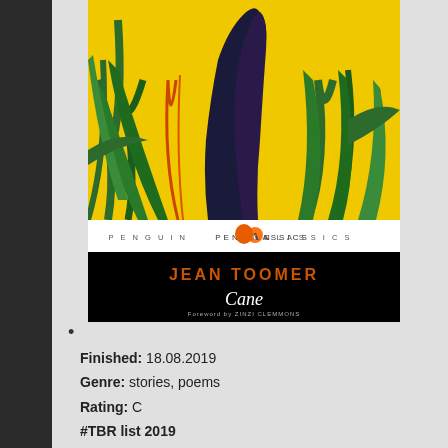[Figure (illustration): Book cover of 'Cane' by Jean Toomer, Penguin Classics edition. Top portion shows a vivid yellow background with green sugarcane leaves and a dark figure. Below is the Penguin Classics banner with orange penguin logo. Lower portion is black with 'JEAN TOOMER' in orange text, 'Cane' in white italic, and 'Foreword by ZINZI CLEMMONS' in small white text.]
•
Finished: 18.08.2019
Genre: stories, poems
Rating: C
#TBR list 2019
Conclusion: Fifteen poems, (good)
Six brief prose vignettes, (very good)
Some stories, (average)